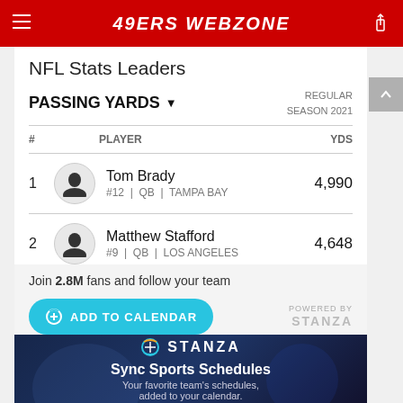49ERS WEBZONE
NFL Stats Leaders
PASSING YARDS
REGULAR SEASON 2021
| # | PLAYER | YDS |
| --- | --- | --- |
| 1 | Tom Brady #12 | QB | TAMPA BAY | 4,990 |
| 2 | Matthew Stafford #9 | QB | LOS ANGELES | 4,648 |
Join 2.8M fans and follow your team
[Figure (screenshot): ADD TO CALENDAR button with Stanza branding]
[Figure (photo): Stanza ad banner: football player in stadium, Sync Sports Schedules, Your favorite team's schedules, added to your calendar.]